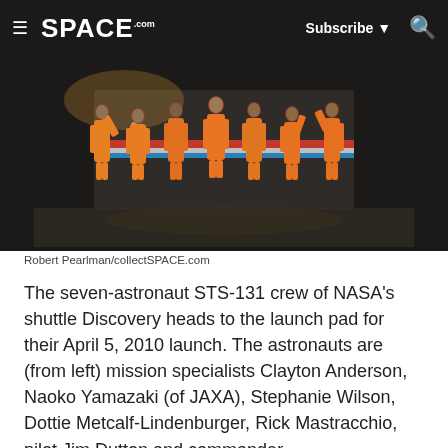SPACE.com | Subscribe | Search
[Figure (photo): Group photo of seven NASA STS-131 shuttle crew members wearing orange launch and entry suits, waving, standing in front of a vehicle at night before their April 5, 2010 launch.]
Robert Pearlman/collectSPACE.com
The seven-astronaut STS-131 crew of NASA's shuttle Discovery heads to the launch pad for their April 5, 2010 launch. The astronauts are (from left) mission specialists Clayton Anderson, Naoko Yamazaki (of JAXA), Stephanie Wilson, Dottie Metcalf-Lindenburger, Rick Mastracchio, pilot Jim Dutton and commander